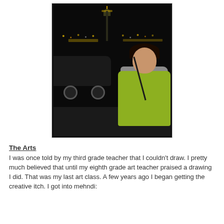[Figure (photo): A woman smiling at night wearing a green jacket with a crossbody bag, standing in front of cars with the Seattle Space Needle visible in the background.]
The Arts
I was once told by my third grade teacher that I couldn't draw.  I pretty much believed that until my eighth grade art teacher praised a drawing I did.  That was my last art class.  A few years ago I began getting the creative itch.  I got into mehndi: